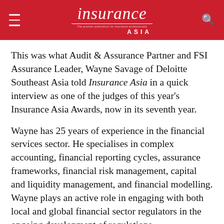Insurance Asia
This was what Audit & Assurance Partner and FSI Assurance Leader, Wayne Savage of Deloitte Southeast Asia told Insurance Asia in a quick interview as one of the judges of this year's Insurance Asia Awards, now in its seventh year.
Wayne has 25 years of experience in the financial services sector. He specialises in complex accounting, financial reporting cycles, assurance frameworks, financial risk management, capital and liquidity management, and financial modelling. Wayne plays an active role in engaging with both local and global financial sector regulators in the ongoing development of regulations.